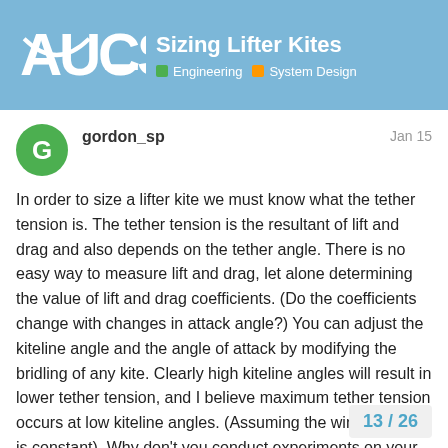Sizing Lifter Kites | Engineering | System Design
gordon_sp
Jan 15
In order to size a lifter kite we must know what the tether tension is. The tether tension is the resultant of lift and drag and also depends on the tether angle. There is no easy way to measure lift and drag, let alone determining the value of lift and drag coefficients. (Do the coefficients change with changes in attack angle?) You can adjust the kiteline angle and the angle of attack by modifying the bridling of any kite. Clearly high kiteline angles will result in lower tether tension, and I believe maximum tether tension occurs at low kiteline angles. (Assuming the wind velocity is constant). Why don't you conduct experiments on your high flying kite and see if this is correct? I have used an empirical formula to calculate the kiteline tension. I have assumed that all the data was obtained from kites flying at 45 deg. This means that the lift and drag force the kiteline tension is 1.414 X lift or drag. I
13 / 26